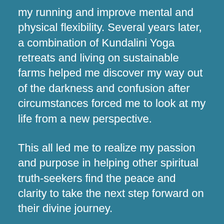my running and improve mental and physical flexibility. Several years later, a combination of Kundalini Yoga retreats and living on sustainable farms helped me discover my way out of the darkness and confusion after circumstances forced me to look at my life from a new perspective.
This all led me to realize my passion and purpose in helping other spiritual truth-seekers find the peace and clarity to take the next step forward on their divine journey.
It would be my honor to support you in manifesting your Divine Dream.